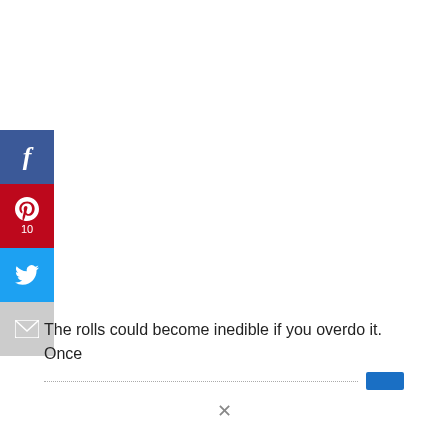[Figure (infographic): Social media share sidebar with Facebook (blue), Pinterest (red, count: 10), Twitter (light blue), and Email (gray) buttons]
The rolls could become inedible if you overdo it. Once
[redacted line with blue rectangle at end]